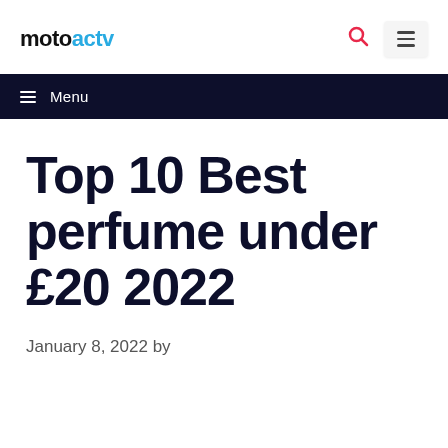motoactv
☰ Menu
Top 10 Best perfume under £20 2022
January 8, 2022 by